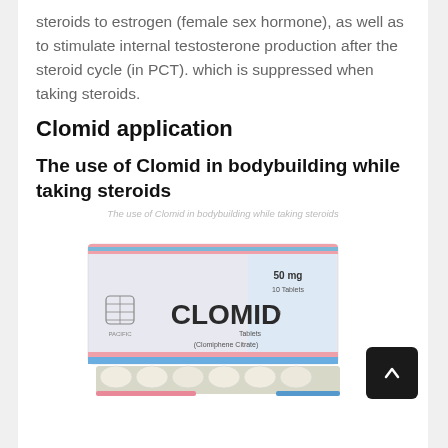steroids to estrogen (female sex hormone), as well as to stimulate internal testosterone production after the steroid cycle (in PCT). which is suppressed when taking steroids.
Clomid application
The use of Clomid in bodybuilding while taking steroids
The use of Clomid in bodybuilding while taking steroids
[Figure (photo): Box of Clomid (Clomiphene Citrate) 50mg Tablets by Pacific, showing tablet blister pack in front of packaging box with pink and blue color accents.]